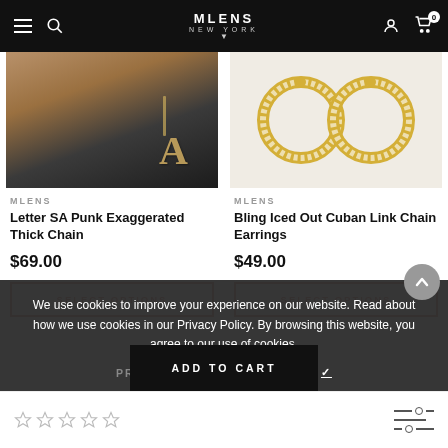MLENS New York — navigation bar with menu, search, logo, account, cart (0)
[Figure (photo): Product photo: Letter SA Punk Exaggerated Thick Chain on model, dark jacket, gold letter charms visible]
MLENS
Letter SA Punk Exaggerated Thick Chain
$69.00
SELECT OPTIONS
[Figure (photo): Product photo: Bling Iced Out Cuban Link Chain Earrings — gold circular earrings with crystal/diamond pave on white background]
MLENS
Bling Iced Out Cuban Link Chain Earrings
$49.00
SELECT OPTIONS
We use cookies to improve your experience on our website. Read about how we use cookies in our Privacy Policy. By browsing this website, you agree to our use of cookies.
PRIVACY POLICY
ACCEPT ✓
ADD TO CART